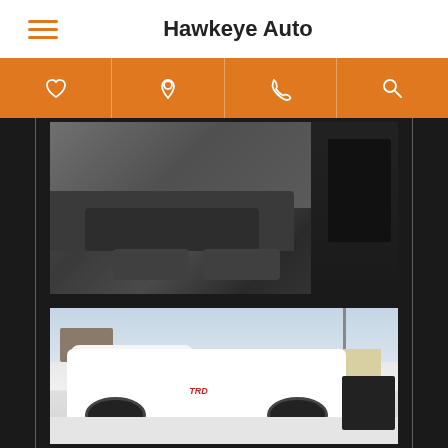Hawkeye Auto
[Figure (photo): Interior vehicle photo showing dark gray plastic dashboard storage area and compartments]
[Figure (photo): Exterior photo of white Toyota Tundra TRD pickup truck with crew cab, viewed from rear-side angle in a snowy parking lot]